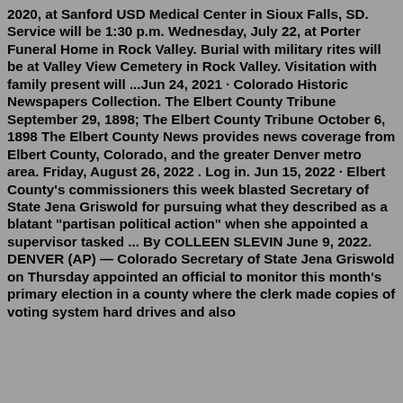2020, at Sanford USD Medical Center in Sioux Falls, SD. Service will be 1:30 p.m. Wednesday, July 22, at Porter Funeral Home in Rock Valley. Burial with military rites will be at Valley View Cemetery in Rock Valley. Visitation with family present will ...Jun 24, 2021 · Colorado Historic Newspapers Collection. The Elbert County Tribune September 29, 1898; The Elbert County Tribune October 6, 1898 The Elbert County News provides news coverage from Elbert County, Colorado, and the greater Denver metro area. Friday, August 26, 2022 . Log in. Jun 15, 2022 · Elbert County's commissioners this week blasted Secretary of State Jena Griswold for pursuing what they described as a blatant "partisan political action" when she appointed a supervisor tasked ... By COLLEEN SLEVIN June 9, 2022. DENVER (AP) — Colorado Secretary of State Jena Griswold on Thursday appointed an official to monitor this month's primary election in a county where the clerk made copies of voting system hard drives and also